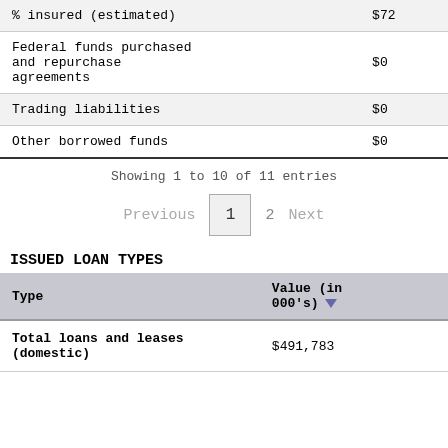|  |  |
| --- | --- |
| % insured (estimated) | $72 |
| Federal funds purchased and repurchase agreements | $0 |
| Trading liabilities | $0 |
| Other borrowed funds | $0 |
Showing 1 to 10 of 11 entries
Previous  1  2  Next
ISSUED LOAN TYPES
| Type | Value (in 000's) |
| --- | --- |
| Total loans and leases (domestic) | $491,783 |